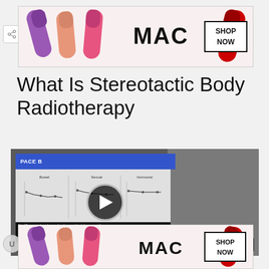[Figure (screenshot): MAC cosmetics advertisement banner showing colorful lipsticks with SHOP NOW button]
What Is Stereotactic Body Radiotherapy
[Figure (screenshot): Video thumbnail of a doctor in a white coat presenting a medical slide showing PACE B trial data on bowel, sexual, and hormonal toxicity. Play button overlay visible. CLOSE button at bottom right.]
[Figure (screenshot): MAC cosmetics advertisement banner at bottom showing colorful lipsticks with SHOP NOW button]